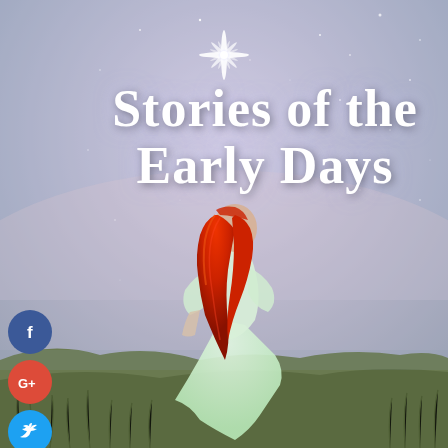[Figure (illustration): Book cover image: dreamy lavender-blue twilight sky with stars and a bright starburst at top center. A woman with long flowing red hair wearing a pale green dress stands in a meadow of tall grass, viewed from behind/side. The overall mood is magical and romantic.]
Stories of the Early Days
[Figure (infographic): Vertical stack of social media share buttons (circles): Facebook (blue, f), Google+ (red, G+), Twitter (light blue, bird), Pinterest (dark red, P), Tumblr (dark navy, t), Reddit (orange, alien logo)]